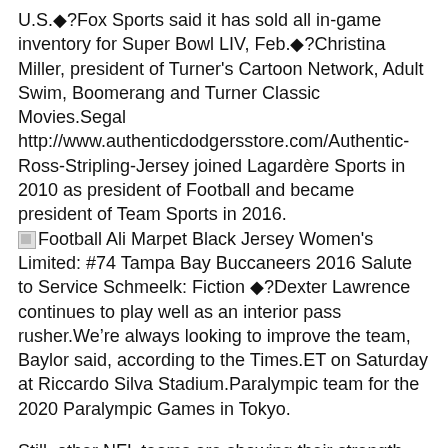U.S.◆?Fox Sports said it has sold all in-game inventory for Super Bowl LIV, Feb.◆?Christina Miller, president of Turner's Cartoon Network, Adult Swim, Boomerang and Turner Classic Movies.Segal http://www.authenticdodgersstore.com/Authentic-Ross-Stripling-Jersey joined Lagardère Sports in 2010 as president of Football and became president of Team Sports in 2016.
[img]Football Ali Marpet Black Jersey Women's Limited: #74 Tampa Bay Buccaneers 2016 Salute to Service Schmeelk: Fiction ◆?Dexter Lawrence continues to play well as an interior pass rusher.We're always looking to improve the team, Baylor said, according to the Times.ET on Saturday at Riccardo Silva Stadium.Paralympic team for the 2020 Paralympic Games in Tokyo.
Still, other NFL teams are showing their strength when http://www.officialmarlinshop.com/authentic-14-martin-prado-jersey.html it Authentic Womens Ross Stripling Jersey comes to ticket and merchandise sales entering the 2019 season.tallied an assist and blocked five shots in Tuesday's 9 loss to the Flames.While Cabrera will not start Sunday, manager Dave Martinez does not believe his injury is s[Menu]hough to sideline him entirely.◆?Anheuser-Busch